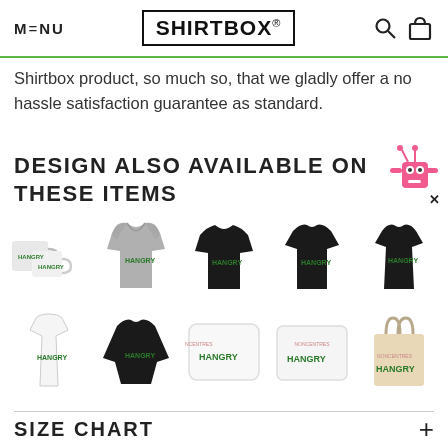MENU | SHIRTBOX® | (search) (cart)
Shirtbox product, so much so, that we gladly offer a no hassle satisfaction guarantee as standard.
DESIGN ALSO AVAILABLE ON THESE ITEMS
[Figure (photo): Grid of 10 product images all featuring the HANGRY logo design: mugs, grey hoodie, black sweatshirt, black t-shirt, black fitted t-shirt, white tank top, black long-sleeve, two white pillows, and a natural tote bag]
SIZE CHART